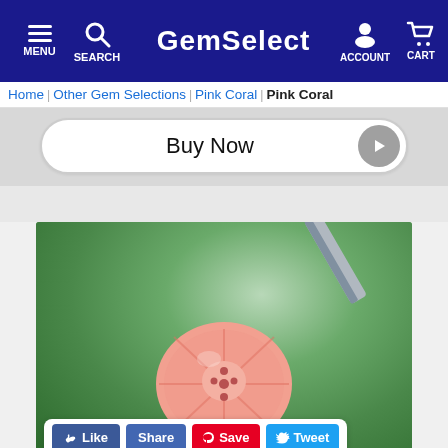GemSelect — MENU SEARCH ACCOUNT CART
Home | Other Gem Selections | Pink Coral | Pink Coral
Buy Now
[Figure (photo): Close-up photo of a carved pink coral gemstone held by metal tweezers against a green background. The coral is carved into a floral/rosette pattern with small holes drilled through it.]
Like   Share   Save   Tweet